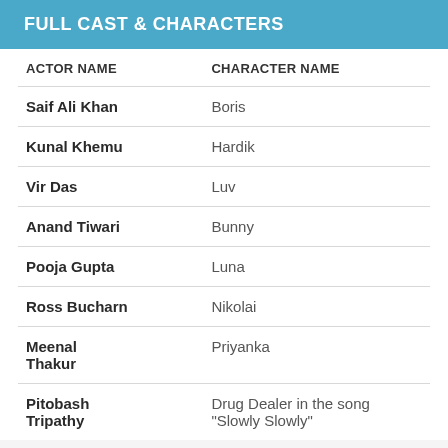FULL CAST & CHARACTERS
| ACTOR NAME | CHARACTER NAME |
| --- | --- |
| Saif Ali Khan | Boris |
| Kunal Khemu | Hardik |
| Vir Das | Luv |
| Anand Tiwari | Bunny |
| Pooja Gupta | Luna |
| Ross Bucharn | Nikolai |
| Meenal Thakur | Priyanka |
| Pitobash Tripathy | Drug Dealer in the song "Slowly Slowly" |